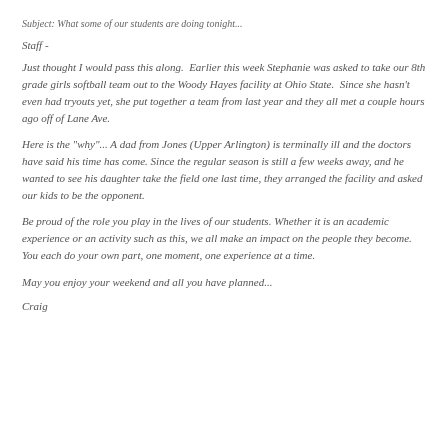Subject: What some of our students are doing tonight...
Staff -
Just thought I would pass this along.  Earlier this week Stephanie was asked to take our 8th grade girls softball team out to the Woody Hayes facility at Ohio State.  Since she hasn't even had tryouts yet, she put together a team from last year and they all met a couple hours ago off of Lane Ave.
Here is the "why"... A dad from Jones (Upper Arlington) is terminally ill and the doctors have said his time has come. Since the regular season is still a few weeks away, and he wanted to see his daughter take the field one last time, they arranged the facility and asked our kids to be the opponent.
Be proud of the role you play in the lives of our students. Whether it is an academic experience or an activity such as this, we all make an impact on the people they become. You each do your own part, one moment, one experience at a time.
May you enjoy your weekend and all you have planned...
Craig